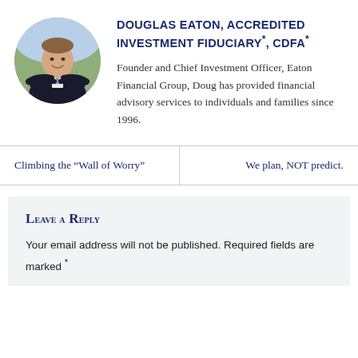[Figure (photo): Circular headshot photo of Douglas Eaton, a man in a dark suit and light blue tie, arms crossed, smiling, with foliage in the background.]
DOUGLAS EATON, ACCREDITED INVESTMENT FIDUCIARY*, CDFA*
Founder and Chief Investment Officer, Eaton Financial Group, Doug has provided financial advisory services to individuals and families since 1996.
Climbing the “Wall of Worry”
We plan, NOT predict.
Leave a Reply
Your email address will not be published. Required fields are marked *